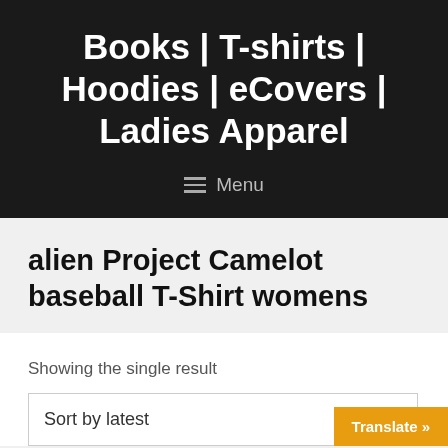Books | T-shirts | Hoodies | eCovers | Ladies Apparel
Menu
alien Project Camelot baseball T-Shirt womens
Showing the single result
Sort by latest
Translate »